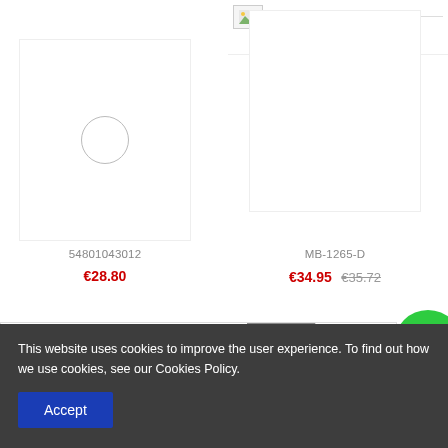[Figure (screenshot): Broken image placeholder top right area of page]
[Figure (screenshot): Product card left: circle placeholder image, SKU 54801043012, price €28.80]
54801043012
€28.80
[Figure (screenshot): Product card right: SKU MB-1265-D, sale price €34.95, original price €35.72]
MB-1265-D
€34.95 €35.72
[Figure (screenshot): Product listing row with broken image and New badge]
This website uses cookies to improve the user experience. To find out how we use cookies, see our Cookies Policy.
Accept